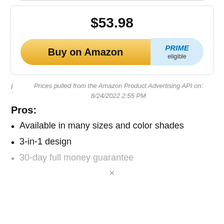$53.98
[Figure (other): Buy on Amazon button with PRIME eligible badge]
Prices pulled from the Amazon Product Advertising API on: 8/24/2022 2:55 PM
Pros:
Available in many sizes and color shades
3-in-1 design
30-day full money guarantee